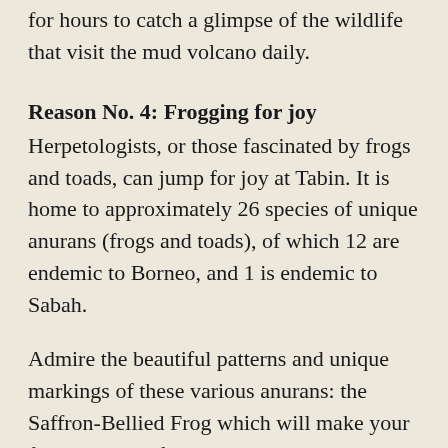for hours to catch a glimpse of the wildlife that visit the mud volcano daily.
Reason No. 4: Frogging for joy
Herpetologists, or those fascinated by frogs and toads, can jump for joy at Tabin. It is home to approximately 26 species of unique anurans (frogs and toads), of which 12 are endemic to Borneo, and 1 is endemic to Sabah.
Admire the beautiful patterns and unique markings of these various anurans: the Saffron-Bellied Frog which will make your finger yellow if you touch the yellow blotches on their body; White-Lipped Frog; Harlequin Tree Frog; Bornean Horned Frog, the only species with 3 derma projections; ‘translucent frog’ and Giant River Toad, just to name a few.
Also, there is the Tree Hole Frog, an endemic species, which changes its call tones daily according to the